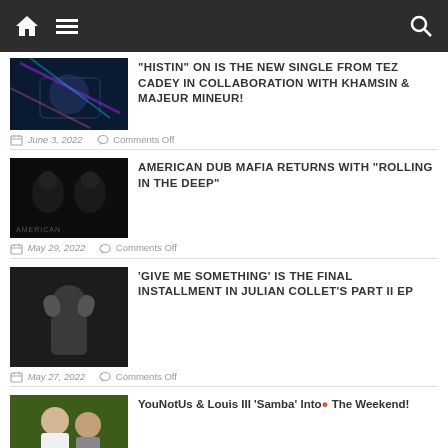Home | Menu | Search
"HISTIN" ON IS THE NEW SINGLE FROM TEZ CADEY IN COLLABORATION WITH KHAMSIN & MAJEUR MINEUR!
June 3, 2022   Comments Off
AMERICAN DUB MAFIA RETURNS WITH "ROLLING IN THE DEEP"
May 29, 2022   Comments Off
'GIVE ME SOMETHING' IS THE FINAL INSTALLMENT IN JULIAN COLLET'S PART II EP
May 27, 2022   Comments Off
YouNotUs & Louis III 'Samba' Into The Weekend!
May 25, 2022   Comments Off